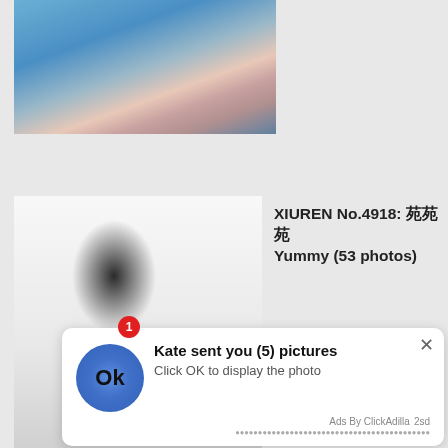[Figure (photo): Partial view of a person in a light pink/white outfit against a blue background, cropped image]
[Figure (photo): Young woman with long dark hair wearing a white blouse, standing against a white wall, looking down]
XIUREN No.4918: ??? Yummy (53 photos)
[Figure (screenshot): Advertisement notification overlay: blue circle with 'Ok' text, message reading 'Kate sent you (5) pictures' and 'Click OK to display the photo', with red badge '1', close X button, and 'Ads By ClickAdilla 2sd' footer]